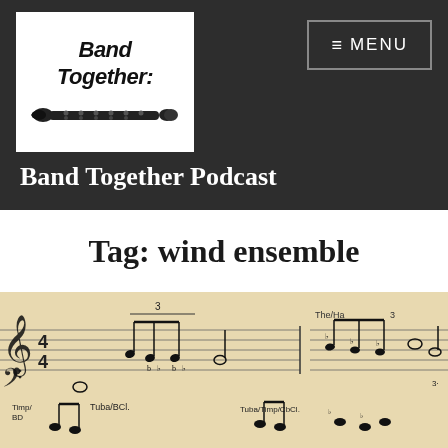[Figure (logo): Band Together podcast logo: white box with hand-drawn text 'Band Together:' and a clarinet illustration below]
Band Together Podcast
Tag: wind ensemble
[Figure (photo): Close-up photo of handwritten musical score sheet music with notes, clefs, and instrument labels including Tuba, Timp, CbCb]